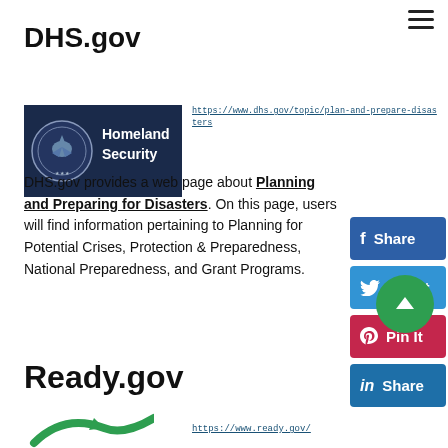DHS.gov
[Figure (logo): Department of Homeland Security logo — dark navy blue background with circular eagle seal and 'Homeland Security' text in white]
https://www.dhs.gov/topic/plan-and-prepare-disasters
DHS.gov provides a web page about Planning and Preparing for Disasters. On this page, users will find information pertaining to Planning for Potential Crises, Protection & Preparedness, National Preparedness, and Grant Programs.
Ready.gov
https://www.ready.gov/